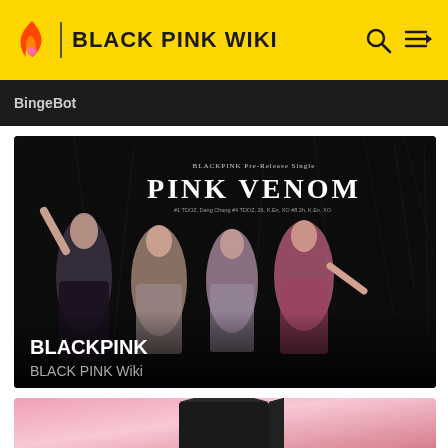BLACK PINK WIKI
BingeBot
[Figure (photo): BLACKPINK Pink Venom pre-release single promotional image showing four women posing against a dark scratched background. Text overlay reads 'BLACKPINK Pre-Release Single PINK VENOM'. Labels at bottom: BLACKPINK and BLACK PINK Wiki]
[Figure (photo): Partial view of a pink gradient background with a dark black box/cube centered, likely album artwork for BLACKPINK THE ALBUM or similar release]